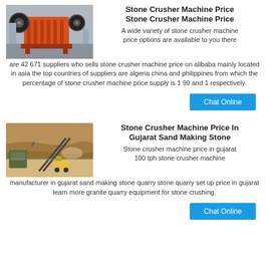[Figure (photo): Orange jaw crusher machine in a factory setting]
Stone Crusher Machine Price Stone Crusher Machine Price
A wide variety of stone crusher machine price options are available to you there are 42 671 suppliers who sells stone crusher machine price on alibaba mainly located in asia the top countries of suppliers are algeria china and philippines from which the percentage of stone crusher machine price supply is 1 99 and 1 respectively.
Chat Online
[Figure (photo): Stone crusher machine setup at a quarry site in Gujarat]
Stone Crusher Machine Price In Gujarat Sand Making Stone
Stone crusher machine price in gujarat 100 tph stone crusher machine manufacturer in gujarat sand making stone quarry stone quarry set up price in gujarat learn more granite quarry equipment for stone crushing.
Chat Online